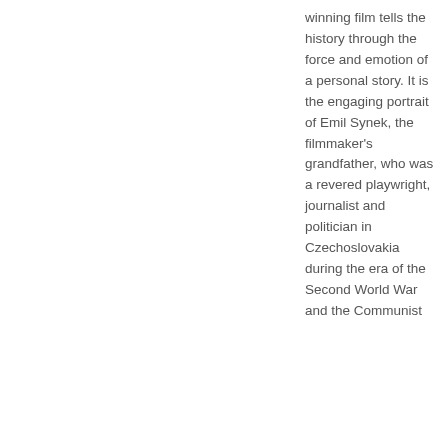winning film tells the history through the force and emotion of a personal story. It is the engaging portrait of Emil Synek, the filmmaker's grandfather, who was a revered playwright, journalist and politician in Czechoslovakia during the era of the Second World War and the Communist